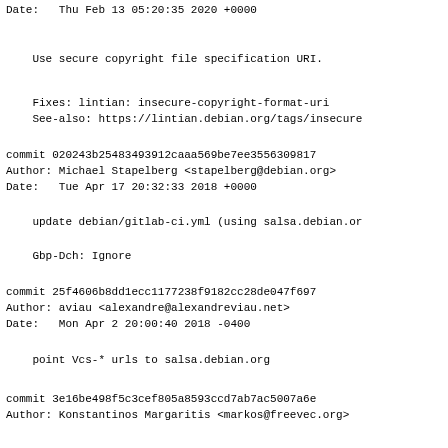Date:   Thu Feb 13 05:20:35 2020 +0000
Use secure copyright file specification URI.
Fixes: lintian: insecure-copyright-format-uri
    See-also: https://lintian.debian.org/tags/insecure
commit 020243b25483493912caaa569be7ee3556309817
Author: Michael Stapelberg <stapelberg@debian.org>
Date:   Tue Apr 17 20:32:33 2018 +0000
update debian/gitlab-ci.yml (using salsa.debian.or
Gbp-Dch: Ignore
commit 25f4606b8dd1ecc1177238f9182cc28de047f697
Author: aviau <alexandre@alexandreviau.net>
Date:   Mon Apr 2 20:00:40 2018 -0400
point Vcs-* urls to salsa.debian.org
commit 3e16be498f5c3cef805a8593ccd7ab7ac5007a6e
Author: Konstantinos Margaritis <markos@freevec.org>